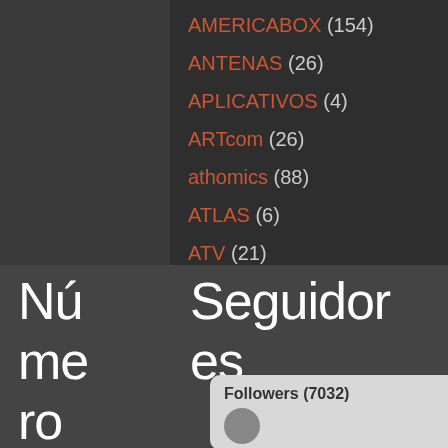AMERICABOX (154)
ANTENAS (26)
APLICATIVOS (4)
ARTcom (26)
athomics (88)
ATLAS (6)
ATV (21)
AUDISAT (432)
Número de Seguidores
Followers (7032)